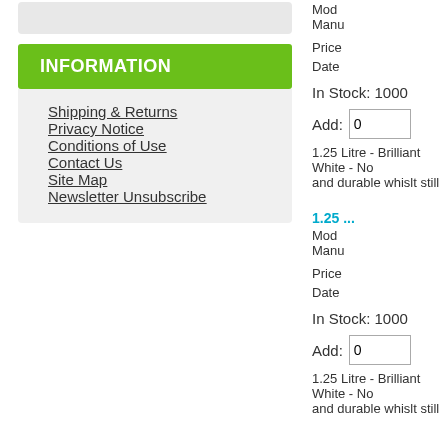INFORMATION
Shipping & Returns
Privacy Notice
Conditions of Use
Contact Us
Site Map
Newsletter Unsubscribe
Mode
Manu
Price
Date
In Stock: 1000
Add: 0
1.25 Litre - Brilliant White - No and durable whislt still
1.25 ...
Mode
Manu
Price
Date
In Stock: 1000
Add: 0
1.25 Litre - Brilliant White - No and durable whislt still